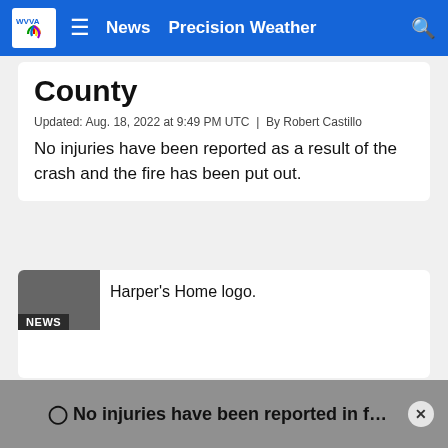WVVA | News | Precision Weather
County
Updated: Aug. 18, 2022 at 9:49 PM UTC  |  By Robert Castillo
No injuries have been reported as a result of the crash and the fire has been put out.
[Figure (screenshot): Harper's Home logo with NEWS badge overlay]
Harper's Home logo.
NEWS